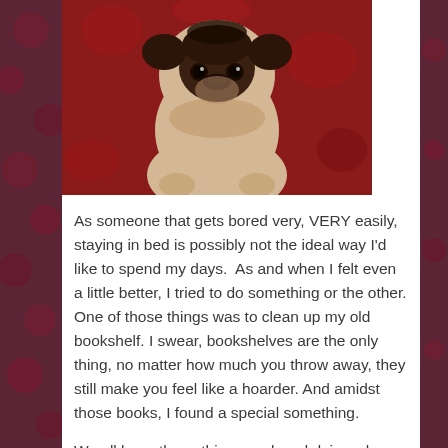[Figure (photo): Close-up photo of a pug puppy sitting on a red floral fabric background. The pug is light tan/fawn colored with a dark face, facing the camera.]
As someone that gets bored very, VERY easily, staying in bed is possibly not the ideal way I'd like to spend my days.  As and when I felt even a little better, I tried to do something or the other. One of those things was to clean up my old bookshelf. I swear, bookshelves are the only thing, no matter how much you throw away, they still make you feel like a hoarder. And amidst those books, I found a special something.
We all have those things we loved doing when we were younger but just quit with time. Things we quit for no reason. The thing I quit was writing poems.